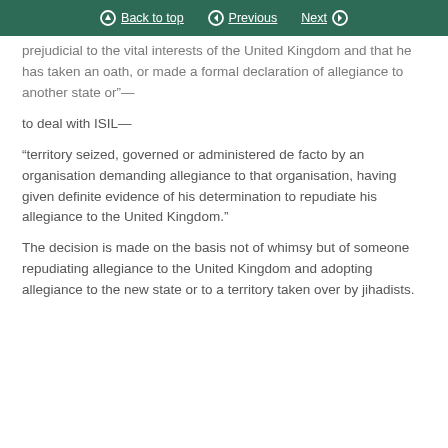Back to top | Previous | Next
prejudicial to the vital interests of the United Kingdom and that he has taken an oath, or made a formal declaration of allegiance to another state or”—
to deal with ISIL—
“territory seized, governed or administered de facto by an organisation demanding allegiance to that organisation, having given definite evidence of his determination to repudiate his allegiance to the United Kingdom.”
The decision is made on the basis not of whimsy but of someone repudiating allegiance to the United Kingdom and adopting allegiance to the new state or to a territory taken over by jihadists.